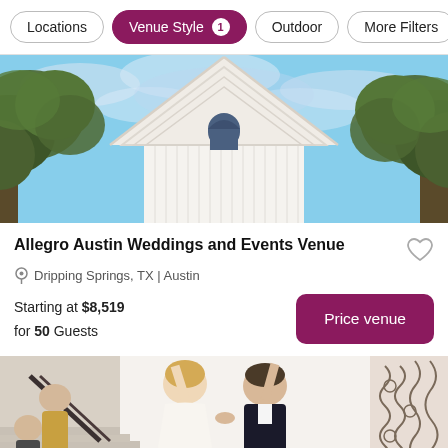Locations | Venue Style 1 | Outdoor | More Filters
[Figure (photo): Upward-looking photo of a white church steeple with arched window, framed by oak trees against a blue sky]
Allegro Austin Weddings and Events Venue
Dripping Springs, TX | Austin
Starting at $8,519 for 50 Guests
[Figure (photo): Photo of a bride and groom celebrating with raised hands on stairs, with another couple in the background, and decorative ironwork visible on the right]